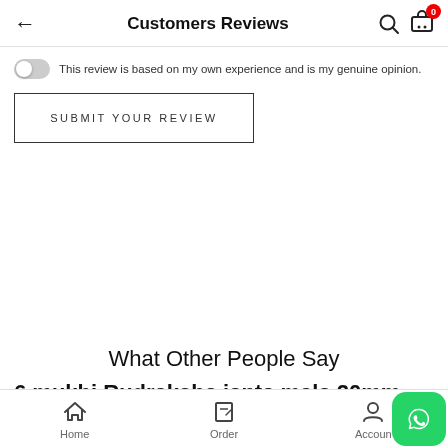Customers Reviews
This review is based on my own experience and is my genuine opinion.
SUBMIT YOUR REVIEW
What Other People Say
6 mukhi Rudraksha janta mala 20mm
Home  Order  Account